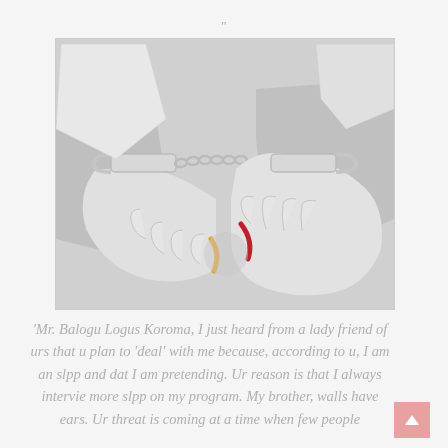[Figure (illustration): Illustration of handcuffed hands/wrists viewed from behind, rendered in grey and white tones, with small yellow and red curved accent marks near center]
'Mr. Balogu Logus Koroma, I just heard from a lady friend of urs that u plan to 'deal' with me because, according to u, I am an slpp and dat I am pretending. Ur reason is that I always intervie more slpp on my program. My brother, walls have ears. Ur threat is coming at a time when few people